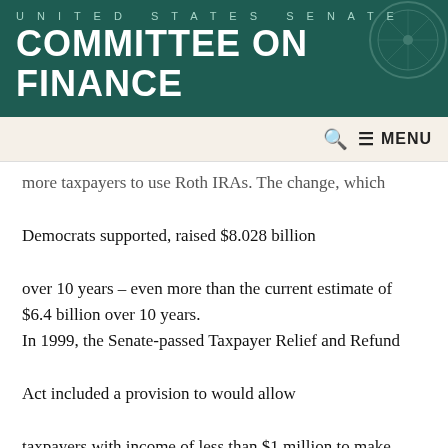UNITED STATES SENATE COMMITTEE ON FINANCE
more taxpayers to use Roth IRAs. The change, which Democrats supported, raised $8.028 billion over 10 years – even more than the current estimate of $6.4 billion over 10 years. In 1999, the Senate-passed Taxpayer Relief and Refund Act included a provision to would allow taxpayers with income of less than $1 million to make Roth IRA contributions. The Act passed the Senate 57-42. President Clinton vetoed the bill.